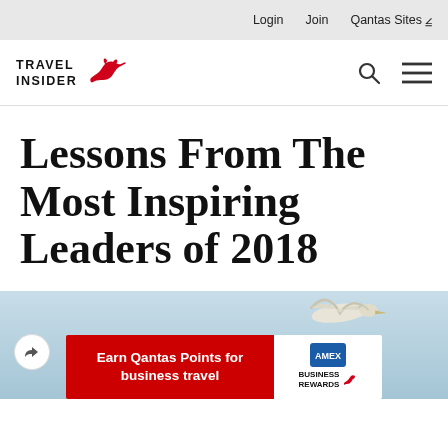Login  Join  Qantas Sites
[Figure (logo): Qantas Travel Insider logo with kangaroo and search/menu icons]
Lessons From The Most Inspiring Leaders of 2018
[Figure (photo): Two birds (white egrets/herons) flying against a light blue sky]
[Figure (infographic): Qantas American Express Business Rewards banner ad: Earn Qantas Points for business travel]